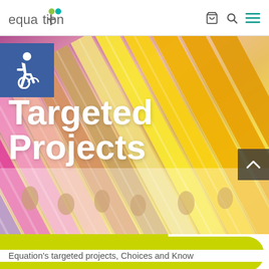equation [logo with cart, search, menu icons]
[Figure (photo): Close-up photo of coloured pencils arranged in a fan pattern from purple/pink on the left through yellow/orange on the right, tips pointing down-left]
Targeted Projects
HIDE THIS SITE
Equation's targeted projects, Choices and Know